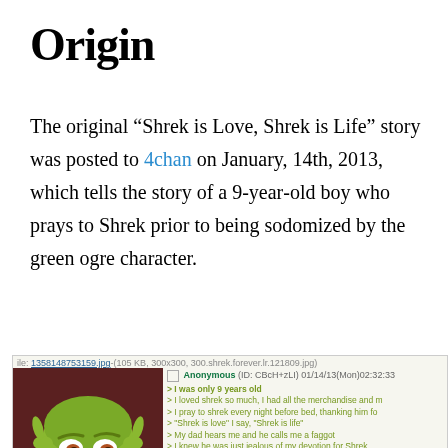Origin
The original “Shrek is Love, Shrek is Life” story was posted to 4chan on January, 14th, 2013, which tells the story of a 9-year-old boy who prays to Shrek prior to being sodomized by the green ogre character.
[Figure (screenshot): 4chan post screenshot showing the original Shrek is Love Shrek is Life greentext story with an image of Shrek]